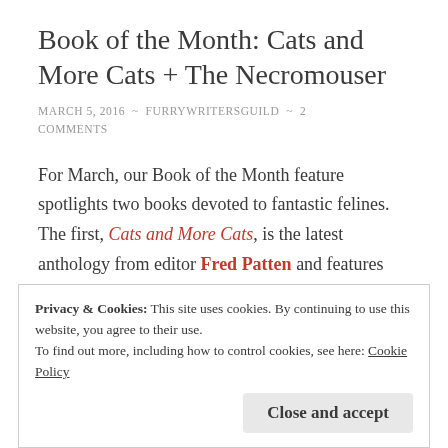Book of the Month: Cats and More Cats + The Necromouser
MARCH 5, 2016 ~ FURRYWRITERSGUILD ~ 2 COMMENTS
For March, our Book of the Month feature spotlights two books devoted to fantastic felines. The first, Cats and More Cats, is the latest anthology from editor Fred Patten and features authors from the fandom and beyond:
Privacy & Cookies: This site uses cookies. By continuing to use this website, you agree to their use.
To find out more, including how to control cookies, see here: Cookie Policy
Close and accept